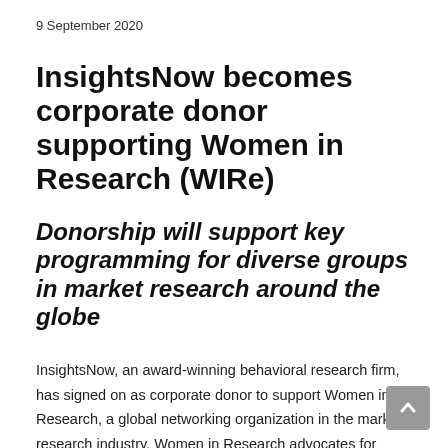9 September 2020
InsightsNow becomes corporate donor supporting Women in Research (WIRe)
Donorship will support key programming for diverse groups in market research around the globe
InsightsNow, an award-winning behavioral research firm, has signed on as corporate donor to support Women in Research, a global networking organization in the market research industry. Women in Research advocates for women and minority groups in the market research industry by creating opportunities, fostering inclusion and supporting diversity. InsightsNow's contribution will be used to